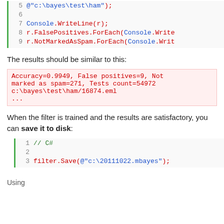[Figure (screenshot): Code block lines 5-9 showing C# code with Console.WriteLine and ForEach calls]
The results should be similar to this:
[Figure (screenshot): Output block showing: Accuracy=0.9949, False positives=9, Not marked as spam=271, Tests count=54972
c:\bayes\test\ham/16874.eml
...]
When the filter is trained and the results are satisfactory, you can save it to disk:
[Figure (screenshot): Code block lines 1-3 showing C# code: // C#, filter.Save(@"c:\20111022.mbayes");]
Using